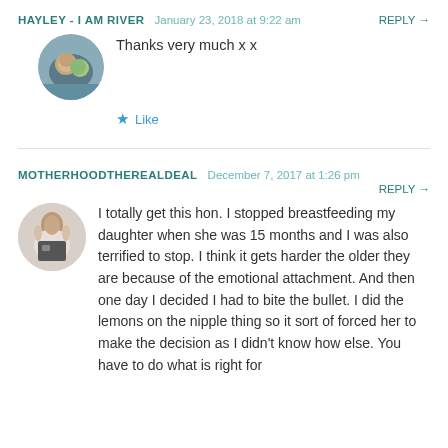HAYLEY - I AM RIVER   January 23, 2018 at 9:22 am   REPLY →
Thanks very much x x
★ Like
MOTHERHOODTHEREALDEAL   December 7, 2017 at 1:26 pm   REPLY →
I totally get this hon. I stopped breastfeeding my daughter when she was 15 months and I was also terrified to stop. I think it gets harder the older they are because of the emotional attachment. And then one day I decided I had to bite the bullet. I did the lemons on the nipple thing so it sort of forced her to make the decision as I didn't know how else. You have to do what is right for